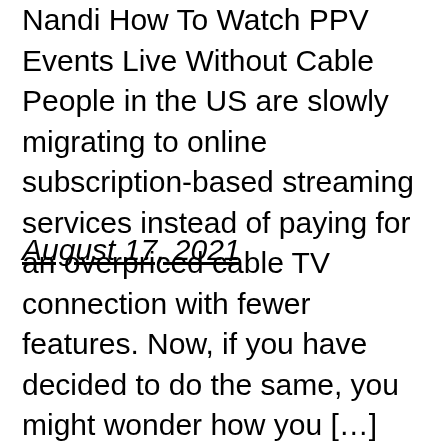Nandi How To Watch PPV Events Live Without Cable People in the US are slowly migrating to online subscription-based streaming services instead of paying for an overpriced cable TV connection with fewer features. Now, if you have decided to do the same, you might wonder how you […]
August 17, 2021